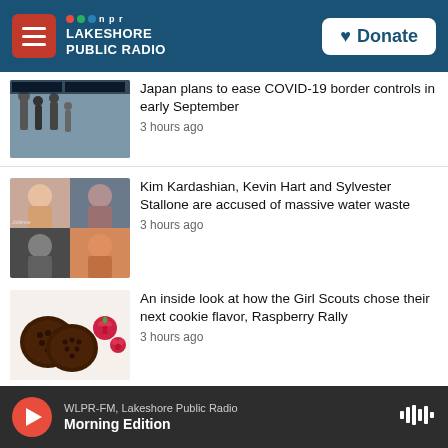[Figure (screenshot): NPR Lakeshore Public Radio mobile app header with hamburger menu, logo, and Donate button]
Japan plans to ease COVID-19 border controls in early September
3 hours ago
Kim Kardashian, Kevin Hart and Sylvester Stallone are accused of massive water waste
3 hours ago
An inside look at how the Girl Scouts chose their next cookie flavor, Raspberry Rally
3 hours ago
Trump has raised millions. He may
WLPR-FM, Lakeshore Public Radio
Morning Edition